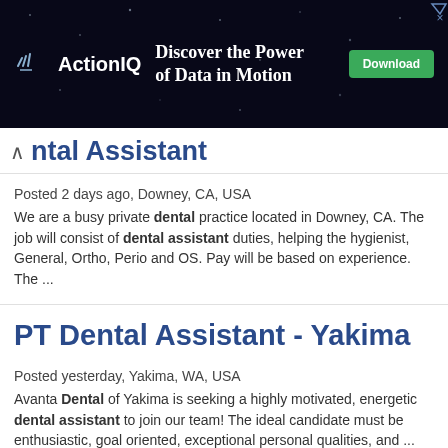[Figure (screenshot): ActionIQ advertisement banner with dark background showing 'Discover the Power of Data in Motion' tagline and a green Download button]
ntal Assistant
Posted 2 days ago, Downey, CA, USA
We are a busy private dental practice located in Downey, CA. The job will consist of dental assistant duties, helping the hygienist, General, Ortho, Perio and OS. Pay will be based on experience. The ...
PT Dental Assistant - Yakima
Posted yesterday, Yakima, WA, USA
Avanta Dental of Yakima is seeking a highly motivated, energetic dental assistant to join our team! The ideal candidate must be enthusiastic, goal oriented, exceptional personal qualities, and ...